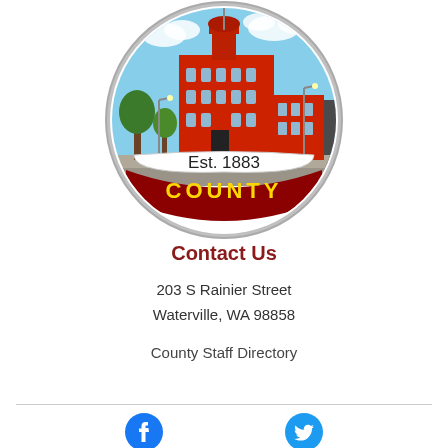[Figure (logo): Douglas County seal/logo: circular badge with a photo of a red brick building (courthouse) against a blue sky, gray stone wall in background, with text 'Est. 1883' in black on a white banner and 'COUNTY' in yellow letters on a dark red curved banner at the bottom, with a gray circular border.]
Contact Us
203 S Rainier Street
Waterville, WA 98858
County Staff Directory
[Figure (logo): Facebook logo icon in blue circle]
[Figure (logo): Twitter logo icon in blue circle]